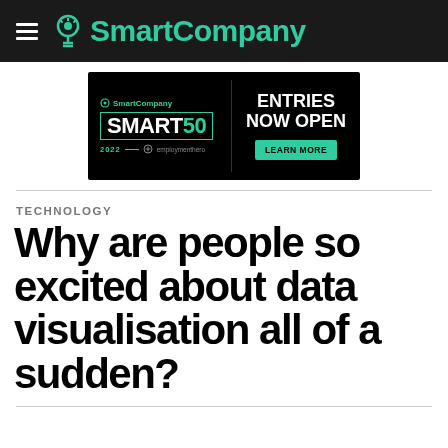SmartCompany
[Figure (other): SmartCompany Smart50 2022 advertisement banner with Employment Hero sponsorship. Black background. Left side shows SmartCompany logo, SMART50 text with teal 50, year 2022, Employment Hero logo. Right side shows ENTRIES NOW OPEN text and LEARN MORE teal button.]
TECHNOLOGY
Why are people so excited about data visualisation all of a sudden?